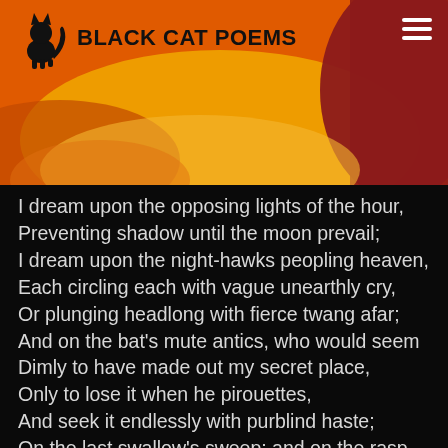BLACK CAT POEMS
I dream upon the opposing lights of the hour,
Preventing shadow until the moon prevail;
I dream upon the night-hawks peopling heaven,
Each circling each with vague unearthly cry,
Or plunging headlong with fierce twang afar;
And on the bat's mute antics, who would seem
Dimly to have made out my secret place,
Only to lose it when he pirouettes,
And seek it endlessly with purblind haste;
On the last swallow's sweep; and on the rasp